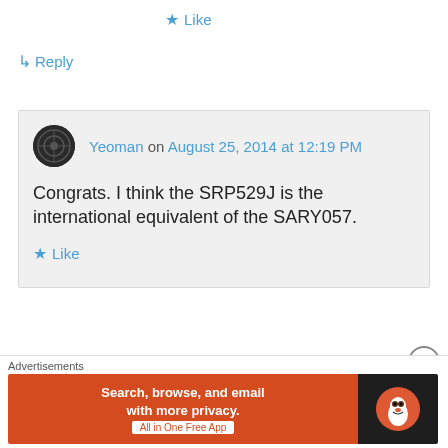★ Like
↳ Reply
Yeoman on August 25, 2014 at 12:19 PM
Congrats. I think the SRP529J is the international equivalent of the SARY057.
★ Like
↳ Reply
Jenson on November 15, 2014 at 2:17 PM
Advertisements
[Figure (screenshot): DuckDuckGo advertisement banner: Search, browse, and email with more privacy. All in One Free App]